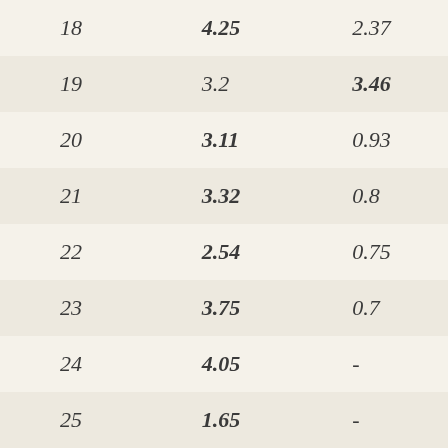| 18 | 4.25 | 2.37 |
| 19 | 3.2 | 3.46 |
| 20 | 3.11 | 0.93 |
| 21 | 3.32 | 0.8 |
| 22 | 2.54 | 0.75 |
| 23 | 3.75 | 0.7 |
| 24 | 4.05 | - |
| 25 | 1.65 | - |